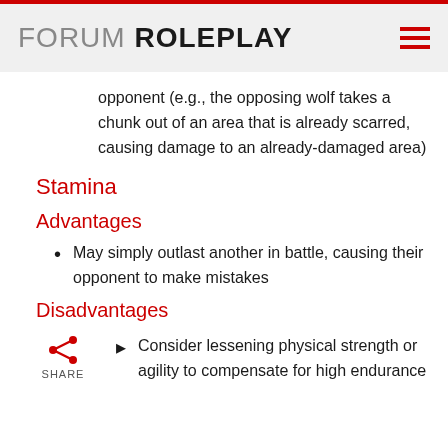FORUM ROLEPLAY
opponent (e.g., the opposing wolf takes a chunk out of an area that is already scarred, causing damage to an already-damaged area)
Stamina
Advantages
May simply outlast another in battle, causing their opponent to make mistakes
Disadvantages
Consider lessening physical strength or agility to compensate for high endurance